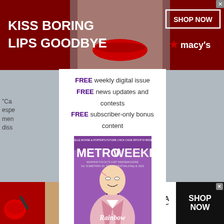[Figure (photo): Top banner advertisement for Macy's lipstick with text 'KISS BORING LIPS GOODBYE', 'SHOP NOW', and Macy's star logo. Background shows a woman's face with red lips.]
FREE weekly digital issue
FREE news updates and contests
FREE subscriber-only bonus content
[Figure (photo): MetroWeekly magazine cover showing a man in a pink tuxedo jacket with bow tie holding glasses, with 'Rainbow Connection' text overlay on purple background.]
"Cam
espe
men
diss
Puls
Pro
Bre
His
if
[Figure (photo): Bottom advertisement for Ulta Beauty showing beauty product images: red lipstick, makeup brush, eye makeup, Ulta logo, eye with dramatic liner, with 'SHOP NOW' text.]